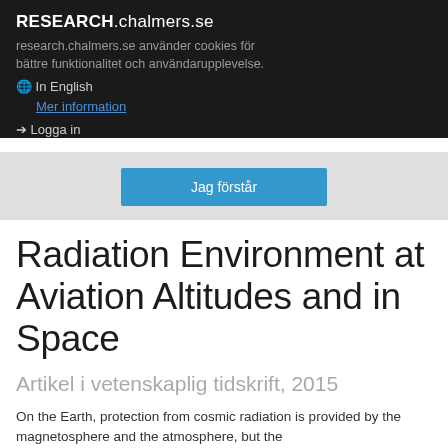RESEARCH.chalmers.se
research.chalmers.se använder cookies för bättre funktionalitet och användarupplevelse.
🌐 In English
Mer information
➔ Logga in
Jag förstår
Radiation Environment at Aviation Altitudes and in Space
Artikel i vetenskaplig tidskrift, 2015
On the Earth, protection from cosmic radiation is provided by the magnetosphere and the atmosphere, but the